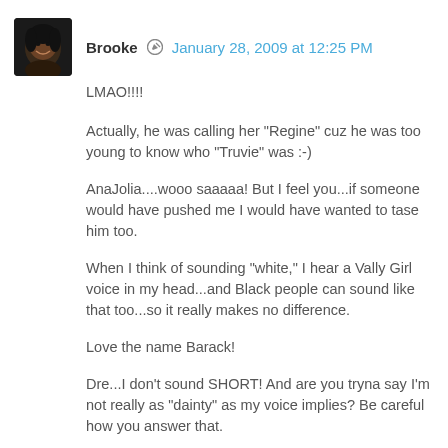[Figure (photo): Small avatar photo of a woman named Brooke, dark background]
Brooke ✏ January 28, 2009 at 12:25 PM
LMAO!!!!
Actually, he was calling her "Regine" cuz he was too young to know who "Truvie" was :-)
AnaJolia....wooo saaaaa! But I feel you...if someone would have pushed me I would have wanted to tase him too.
When I think of sounding "white," I hear a Vally Girl voice in my head...and Black people can sound like that too...so it really makes no difference.
Love the name Barack!
Dre...I don't sound SHORT! And are you tryna say I'm not really as "dainty" as my voice implies? Be careful how you answer that.
Crazed Eagles fan huh?